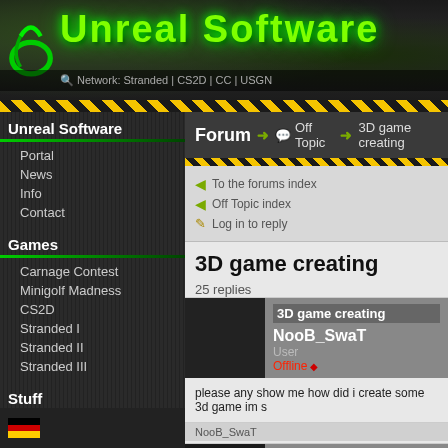[Figure (screenshot): Unreal Software website header with green glowing logo text and dark background]
Network: Stranded | CS2D | CC | USGN
Unreal Software
Portal
News
Info
Contact
Games
Carnage Contest
Minigolf Madness
CS2D
Stranded I
Stranded II
Stranded III
Stuff
Links
Community
Search / FAQ
Rules
Users
File Archive
Forum
Forum → Off Topic → 3D game creating
To the forums index
Off Topic index
Log in to reply
3D game creating
25 replies
3D game creating
NooB_SwaT
User
Offline
please any show me how did i create some 3d game im s
NooB_SwaT
Assassin moder
User
Offline